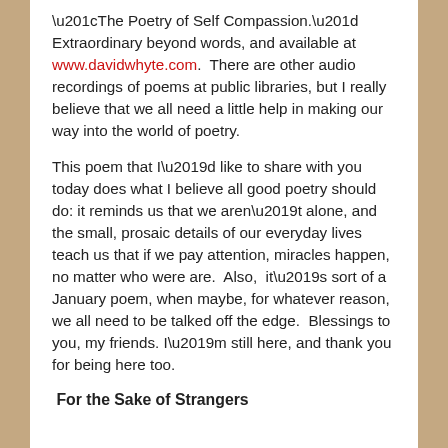“The Poetry of Self Compassion.”  Extraordinary beyond words, and available at www.davidwhyte.com.  There are other audio recordings of poems at public libraries, but I really believe that we all need a little help in making our way into the world of poetry.
This poem that I’d like to share with you today does what I believe all good poetry should do: it reminds us that we aren’t alone, and the small, prosaic details of our everyday lives teach us that if we pay attention, miracles happen, no matter who were are.  Also,  it’s sort of a January poem, when maybe, for whatever reason, we all need to be talked off the edge.  Blessings to you, my friends.  I’m still here, and thank you for being here too.
For the Sake of Strangers